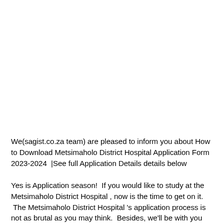We(sagist.co.za team) are pleased to inform you about How to Download Metsimaholo District Hospital Application Form 2023-2024  |See full Application Details details below
Yes is Application season!  If you would like to study at the Metsimaholo District Hospital , now is the time to get on it.  The Metsimaholo District Hospital 's application process is not as brutal as you may think.  Besides, we'll be with you each step of the way. Read on to learn about the Metsimaholo District Hospital's...